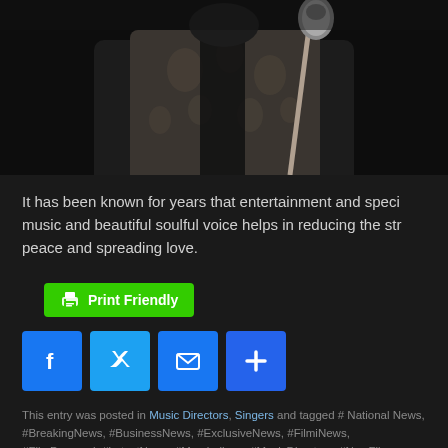[Figure (photo): Black and white photo of a male singer performing at a microphone, wearing a floral embroidered vest over a dark shirt, cropped at the torso level]
It has been known for years that entertainment and speci music and beautiful soulful voice helps in reducing the str peace and spreading love.
[Figure (infographic): Print Friendly button (green) and social share buttons: Facebook (blue f), Twitter (blue bird), Email (blue envelope), More (blue plus)]
This entry was posted in Music Directors, Singers and tagged # National News #BreakingNews, #BusinessNews, #ExclusiveNews, #FilmiNews, #FilmPersonal #LatestNews, #Mumbaikars, #MusicDirectors, #NewFilms, #Reviews, #Sports, Directors, Producers, Singers. Bookmark the permalink.